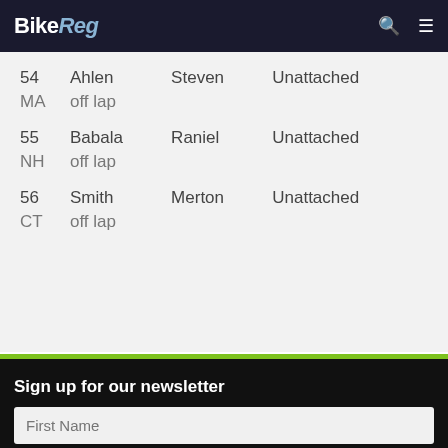BikeReg
| # | Last | First | Team | State | Result |
| --- | --- | --- | --- | --- | --- |
| 54 | Ahlen | Steven | Unattached | MA | off lap |
| 55 | Babala | Raniel | Unattached | NH | off lap |
| 56 | Smith | Merton | Unattached | CT | off lap |
Sign up for our newsletter
First Name